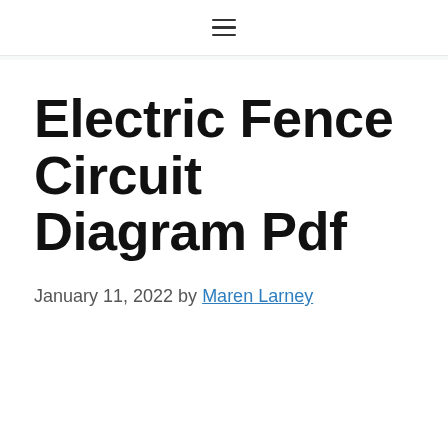≡
Electric Fence Circuit Diagram Pdf
January 11, 2022 by Maren Larney